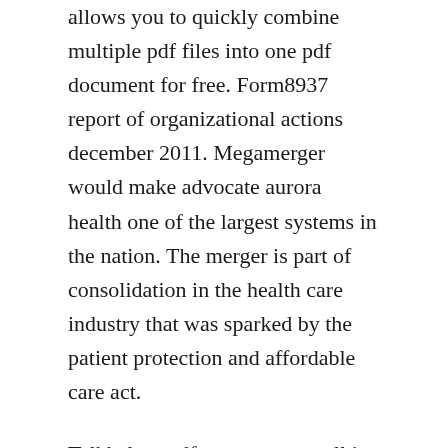allows you to quickly combine multiple pdf files into one pdf document for free. Form8937 report of organizational actions december 2011. Megamerger would make advocate aurora health one of the largest systems in the nation. The merger is part of consolidation in the health care industry that was sparked by the patient protection and affordable care act.
Talkhelper pdf converter ocr all in one pdf conversion. Join facebook to connect with jonathan yarwood and others you may know.